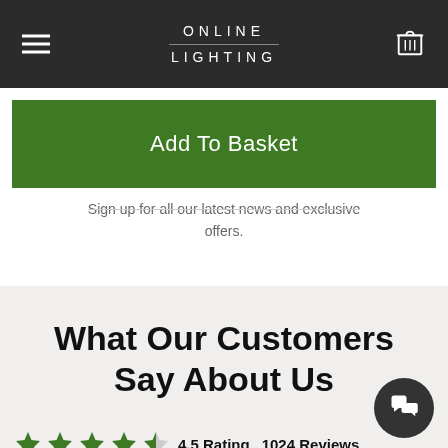ONLINE LIGHTING
Add To Basket
Sign up for all our latest news and exclusive offers.
What Our Customers Say About Us
4.5 Rating   1024 Reviews